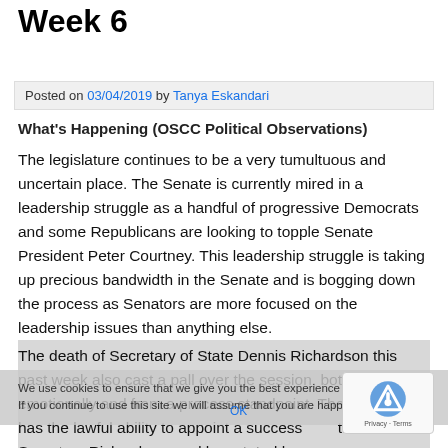Week 6
Posted on 03/04/2019 by Tanya Eskandari
What's Happening (OSCC Political Observations)
The legislature continues to be a very tumultuous and uncertain place. The Senate is currently mired in a leadership struggle as a handful of progressive Democrats and some Republicans are looking to topple Senate President Peter Courtney. This leadership struggle is taking up precious bandwidth in the Senate and is bogging down the process as Senators are more focused on the leadership issues than anything else.
The death of Secretary of State Dennis Richardson this past week also cast a pall over the session, both emotionally and from a process standpoint. The Governor has the lawful ability to appoint a successor to the late Secretary Richardson, and has stated her